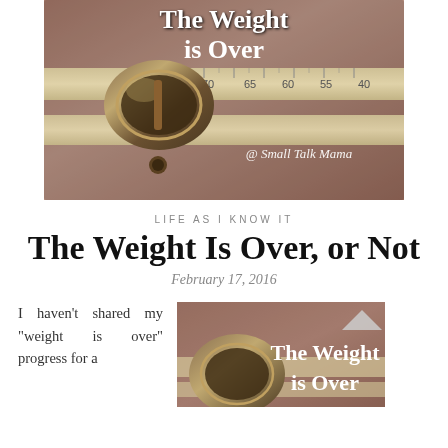[Figure (photo): A close-up photo of a metal measuring tape buckle with a vintage look, brown/mauve background. Text overlay reads 'The Weight is Over' in white serif font and '@ Small Talk Mama' in white italic font.]
LIFE AS I KNOW IT
The Weight Is Over, or Not
February 17, 2016
I haven’t shared my “weight is over” progress for a
[Figure (photo): A partial view of the same measuring tape image with 'The Weight is Over' text overlay, cropped at bottom of page.]